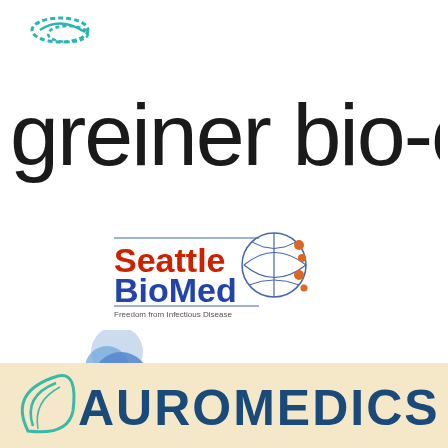[Figure (logo): Greiner bio-one company logo with teal swirl graphic above text in black lowercase sans-serif font]
[Figure (logo): Seattle BioMed logo with globe graphic, red text 'Seattle' and blue bold 'BioMed', tagline 'Freedom from Infectious Disease']
[Figure (logo): Vertical Pharmaceuticals, Inc. logo with blue spheres and large serif text]
[Figure (logo): Auromedics logo on beige/tan background with teal swoosh graphic and blue uppercase text 'AUROMEDICS']